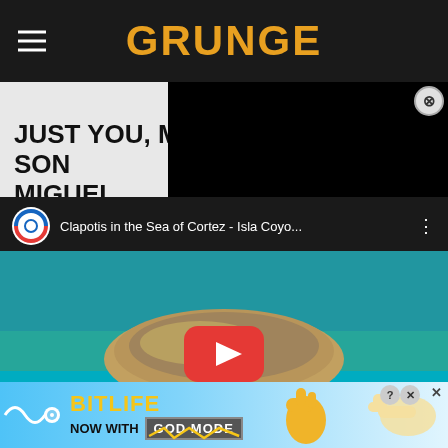GRUNGE
JUST YOU, ME, AND SON MIGUEL
[Figure (screenshot): YouTube video embed showing 'Clapotis in the Sea of Cortez - Isla Coyo...' with an aerial photo of an island in blue water, with a red YouTube play button overlay and a circular logo in the top left. Above the video is an overlay panel with black background.]
[Figure (screenshot): BitLife advertisement banner at the bottom: 'NOW WITH GOD MODE' in bold text on a light blue background with cartoon hand graphics and close buttons.]